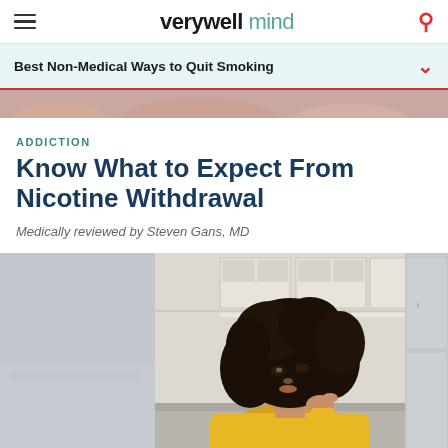verywell mind
Best Non-Medical Ways to Quit Smoking
ADDICTION
Know What to Expect From Nicotine Withdrawal
Medically reviewed by Steven Gans, MD
[Figure (photo): Woman with curly hair wearing a yellow sweater, sitting in a kitchen, looking thoughtfully to the side with her hand near her face.]